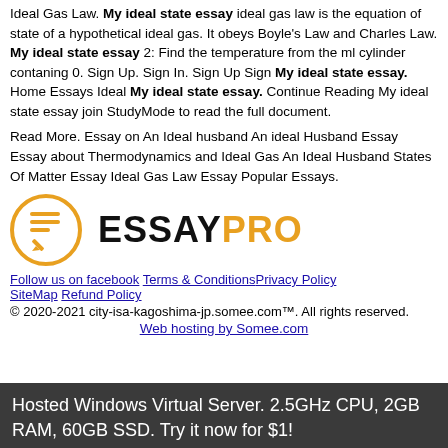Ideal Gas Law. My ideal state essay ideal gas law is the equation of state of a hypothetical ideal gas. It obeys Boyle's Law and Charles Law. My ideal state essay 2: Find the temperature from the ml cylinder contaning 0. Sign Up. Sign In. Sign Up Sign My ideal state essay. Home Essays Ideal My ideal state essay. Continue Reading My ideal state essay join StudyMode to read the full document.
Read More. Essay on An Ideal husband An ideal Husband Essay Essay about Thermodynamics and Ideal Gas An Ideal Husband States Of Matter Essay Ideal Gas Law Essay Popular Essays.
[Figure (logo): EssayPro logo with orange circle icon containing document lines and a pencil, next to bold text ESSAYPRO where PRO is in orange]
Follow us on facebook Terms & ConditionsPrivacy Policy SiteMap Refund Policy
© 2020-2021 city-isa-kagoshima-jp.somee.com™. All rights reserved.
Web hosting by Somee.com
Hosted Windows Virtual Server. 2.5GHz CPU, 2GB RAM, 60GB SSD. Try it now for $1!